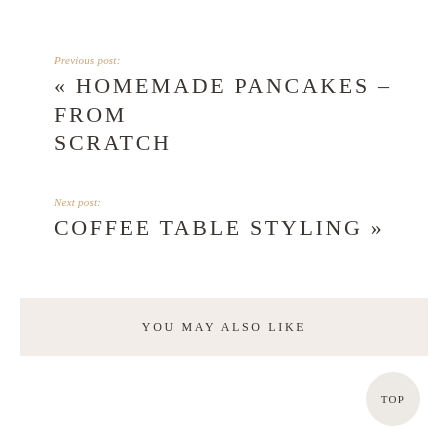Previous post:
« HOMEMADE PANCAKES – FROM SCRATCH
Next post:
COFFEE TABLE STYLING »
YOU MAY ALSO LIKE
TOP